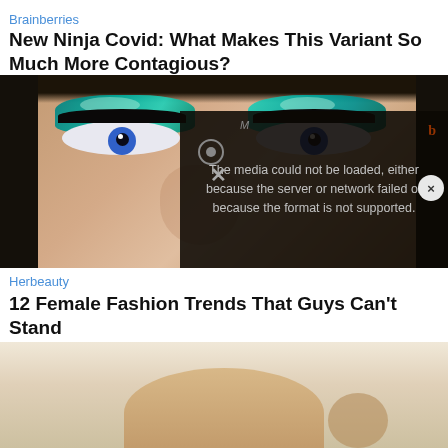Brainberries
New Ninja Covid: What Makes This Variant So Much More Contagious?
[Figure (photo): Close-up photo of a woman's face with dramatic teal/turquoise eye shadow makeup and blue eyes, with dark hair. Overlaid with a video player error popup reading: 'The media could not be loaded, either because the server or network failed or because the format is not supported.']
Herbeauty
12 Female Fashion Trends That Guys Can't Stand
[Figure (photo): Partial view of a person, cropped at bottom of page.]